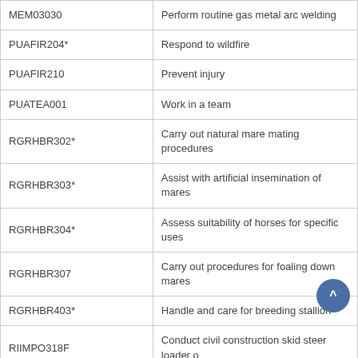| Code | Description |
| --- | --- |
| MEM03030 | Perform routine gas metal arc welding |
| PUAFIR204* | Respond to wildfire |
| PUAFIR210 | Prevent injury |
| PUATEA001 | Work in a team |
| RGRHBR302* | Carry out natural mare mating procedures |
| RGRHBR303* | Assist with artificial insemination of mares |
| RGRHBR304* | Assess suitability of horses for specific uses |
| RGRHBR307 | Carry out procedures for foaling down mares |
| RGRHBR403* | Handle and care for breeding stallions |
| RIIMPO318F | Conduct civil construction skid steer loader o... |
| RIIMPO319E | Conduct backhoe/loader operations |
| RIIMPO324F | Conduct civil construction grader operations |